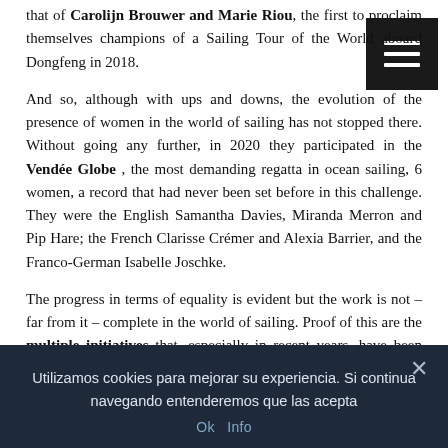that of Carolijn Brouwer and Marie Riou, the first to proclaim themselves champions of a Sailing Tour of the World aboard Dongfeng in 2018.
And so, although with ups and downs, the evolution of the presence of women in the world of sailing has not stopped there. Without going any further, in 2020 they participated in the Vendée Globe , the most demanding regatta in ocean sailing, 6 women, a record that had never been set before in this challenge. They were the English Samantha Davies, Miranda Merron and Pip Hare; the French Clarisse Crémer and Alexia Barrier, and the Franco-German Isabelle Joschke.
The progress in terms of equality is evident but the work is not – far from it – complete in the world of sailing. Proof of this are the multiple initiatives that, especially in recent years, have been launched through federations, clubs and teams. Women's
[Figure (other): Hamburger menu button (three white horizontal lines on dark background), top right corner]
Utilizamos cookies para mejorar su experiencia. Si continua navegando entenderemos que las acepta
Ok   Info